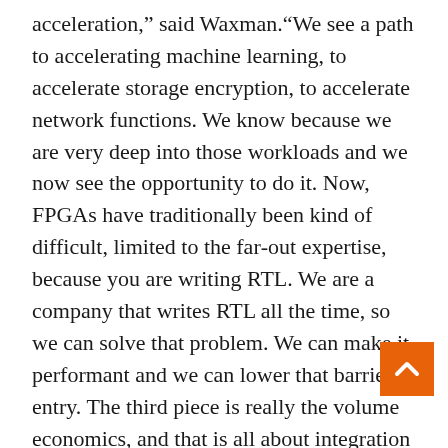acceleration,” said Waxman.“We see a path to accelerating machine learning, to accelerate storage encryption, to accelerate network functions. We know because we are very deep into those workloads and we now see the opportunity to do it. Now, FPGAs have traditionally been kind of difficult, limited to the far-out expertise, because you are writing RTL. We are a company that writes RTL all the time, so we can solve that problem. We can make it performant and we can lower that barrier to entry. The third piece is really the volume economics, and that is all about integration and manufacturing prowess. So we look at the barriers that have kept it a niche, and we have a path to overcome those barriers. We have some interesting plans and if things go well, we can talk about those at another time.”
For those of us who think that Intel is conceptualizing this as FPGAs replacing Xeons, Waxman put the kibosh